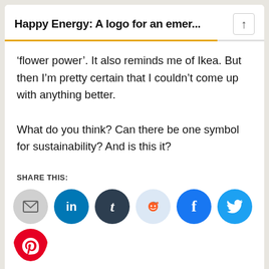Happy Energy: A logo for an emer...
‘flower power’. It also reminds me of Ikea. But then I’m pretty certain that I couldn’t come up with anything better.

What do you think? Can there be one symbol for sustainability? And is this it?
SHARE THIS:
[Figure (other): Social share buttons: email (gray circle), LinkedIn (teal circle with 'in'), Tumblr (dark blue circle with 't'), Reddit (light blue circle with alien icon), Facebook (blue circle with 'f'), Twitter (blue circle with bird icon), Pinterest (red circle, partially visible)]